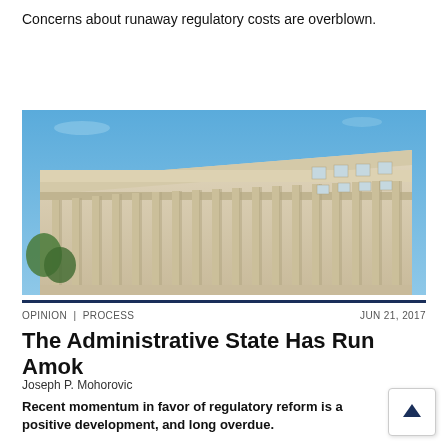Concerns about runaway regulatory costs are overblown.
[Figure (photo): Exterior photograph of a large neoclassical government building with tall stone columns, multiple floors, and a clear blue sky in the background.]
OPINION | PROCESS   JUN 21, 2017
The Administrative State Has Run Amok
Joseph P. Mohorovic
Recent momentum in favor of regulatory reform is a positive development, and long overdue.